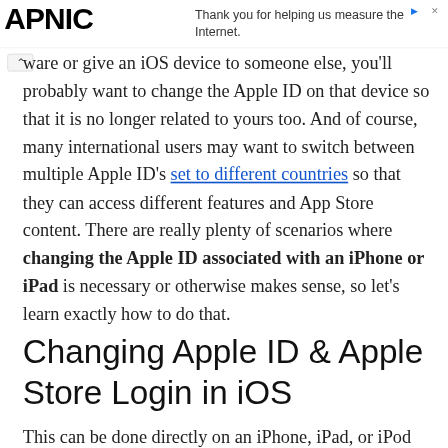APNIC — Thank you for helping us measure the Internet.
ware or give an iOS device to someone else, you'll probably want to change the Apple ID on that device so that it is no longer related to yours too. And of course, many international users may want to switch between multiple Apple ID's set to different countries so that they can access different features and App Store content. There are really plenty of scenarios where changing the Apple ID associated with an iPhone or iPad is necessary or otherwise makes sense, so let's learn exactly how to do that.
Changing Apple ID & Apple Store Login in iOS
This can be done directly on an iPhone, iPad, or iPod touch. The first step is to log out…